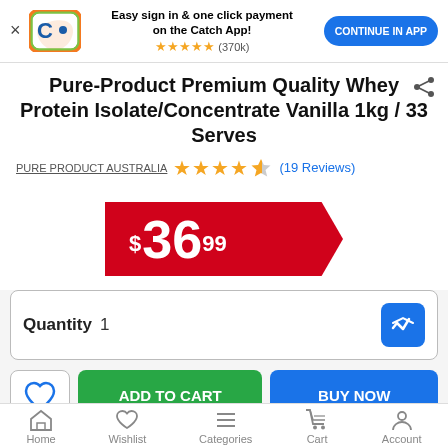[Figure (screenshot): App banner with Catch logo, 'Easy sign in & one click payment on the Catch App!' text, star rating (370k), and CONTINUE IN APP button]
Pure-Product Premium Quality Whey Protein Isolate/Concentrate Vanilla 1kg / 33 Serves
PURE PRODUCT AUSTRALIA ★★★★½ (19 Reviews)
$36.99
Quantity 1
ADD TO CART
BUY NOW
Home   Wishlist   Categories   Cart   Account